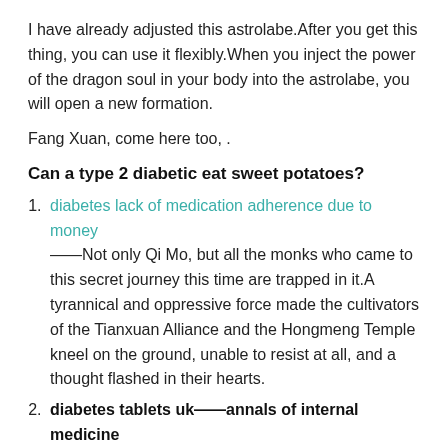I have already adjusted this astrolabe.After you get this thing, you can use it flexibly.When you inject the power of the dragon soul in your body into the astrolabe, you will open a new formation.
Fang Xuan, come here too, .
Can a type 2 diabetic eat sweet potatoes?
diabetes lack of medication adherence due to money ——Not only Qi Mo, but all the monks who came to this secret journey this time are trapped in it.A tyrannical and oppressive force made the cultivators of the Tianxuan Alliance and the Hongmeng Temple kneel on the ground, unable to resist at all, and a thought flashed in their hearts.
diabetes tablets uk——annals of internal medicine